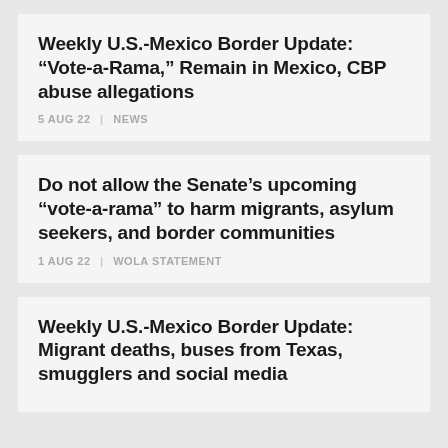Weekly U.S.-Mexico Border Update: “Vote-a-Rama,” Remain in Mexico, CBP abuse allegations
5 AUG 22 | NEWS
Do not allow the Senate’s upcoming “vote-a-rama” to harm migrants, asylum seekers, and border communities
1 AUG 22 | WOLA STATEMENT
Weekly U.S.-Mexico Border Update: Migrant deaths, buses from Texas, smugglers and social media